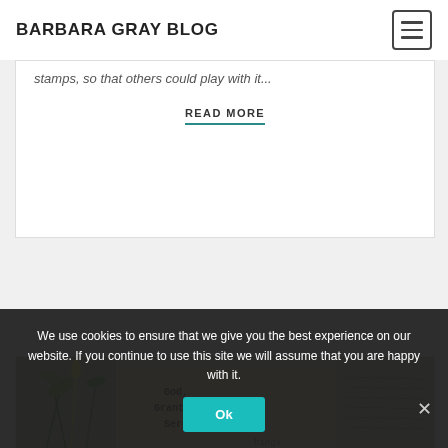BARBARA GRAY BLOG
stamps, so that others could play with it...
READ MORE
[Figure (photo): Close-up photo of a craft/art piece with text reading 'God, Grant me the Serenity' with illustrated plants and botanicals in background]
We use cookies to ensure that we give you the best experience on our website. If you continue to use this site we will assume that you are happy with it.
Ok